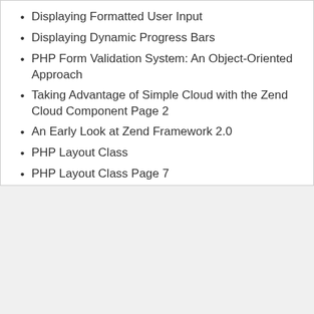Displaying Formatted User Input
Displaying Dynamic Progress Bars
PHP Form Validation System: An Object-Oriented Approach
Taking Advantage of Simple Cloud with the Zend Cloud Component Page 2
An Early Look at Zend Framework 2.0
PHP Layout Class
PHP Layout Class Page 7
PHP Layout Class Page 2
PHP Layout Class Page 3